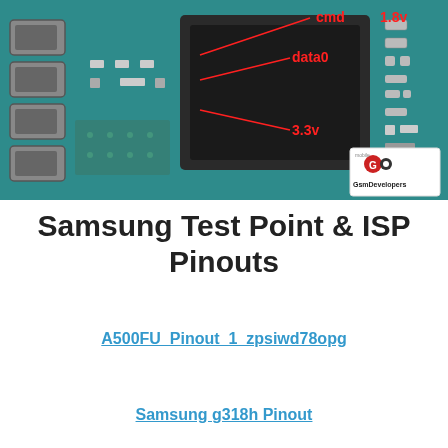[Figure (photo): Close-up photo of a Samsung PCB circuit board showing an eMMC chip with red annotation labels: 'cmd', '1.8v', 'data0', '3.3v'. A GsmDevelopers logo watermark is visible in the bottom-right corner of the image.]
Samsung Test Point & ISP Pinouts
A500FU_Pinout_1_zpsiwd78opg
Samsung g318h Pinout